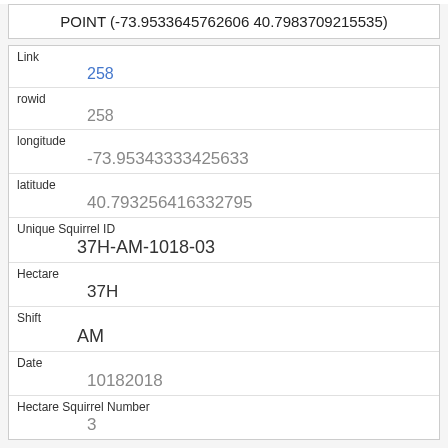POINT (-73.9533645762606 40.7983709215535)
| Field | Value |
| --- | --- |
| Link | 258 |
| rowid | 258 |
| longitude | -73.95343333425633 |
| latitude | 40.793256416332795 |
| Unique Squirrel ID | 37H-AM-1018-03 |
| Hectare | 37H |
| Shift | AM |
| Date | 10182018 |
| Hectare Squirrel Number | 3 |